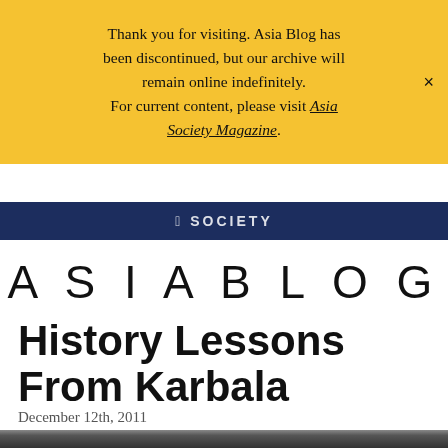Thank you for visiting. Asia Blog has been discontinued, but our archive will remain online indefinitely. For current content, please visit Asia Society Magazine.
ASIA SOCIETY
ASIABLOG
History Lessons From Karbala
December 12th, 2011
[Figure (photo): Bottom photo strip showing crowd of people, partially visible]